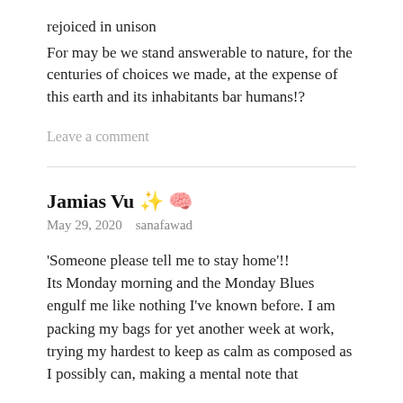rejoiced in unison
For may be we stand answerable to nature, for the centuries of choices we made, at the expense of this earth and its inhabitants bar humans!?
Leave a comment
Jamias Vu ✨ 🧠
May 29, 2020   sanafawad
'Someone please tell me to stay home'!!
Its Monday morning and the Monday Blues engulf me like nothing I've known before. I am packing my bags for yet another week at work, trying my hardest to keep as calm as composed as I possibly can, making a mental note that